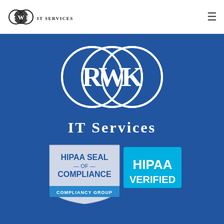[Figure (logo): RWK IT Services logo in header - circular RWK emblem with IT Services text below]
[Figure (logo): Hamburger menu icon (three horizontal lines) in top right of header]
[Figure (logo): Large RWK IT Services logo on dark blue background - three interlocking circles with R, W, K letters in white, IT Services text below]
[Figure (logo): HIPAA Seal of Compliance badge from Compliancy Group with HIPAA Verified label in cyan/blue]